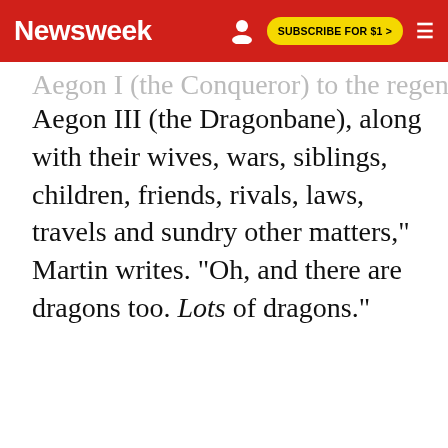Newsweek | SUBSCRIBE FOR $1 >
Aegon I (the Conqueror) to the regency of Aegon III (the Dragonbane), along with their wives, wars, siblings, children, friends, rivals, laws, travels and sundry other matters," Martin writes. "Oh, and there are dragons too. Lots of dragons."